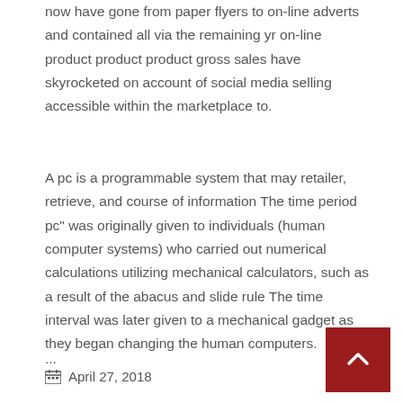now have gone from paper flyers to on-line adverts and contained all via the remaining yr on-line product product product gross sales have skyrocketed on account of social media selling accessible within the marketplace to.
A pc is a programmable system that may retailer, retrieve, and course of information The time period pc" was originally given to individuals (human computer systems) who carried out numerical calculations utilizing mechanical calculators, such as a result of the abacus and slide rule The time interval was later given to a mechanical gadget as they began changing the human computers.
...
April 27, 2018